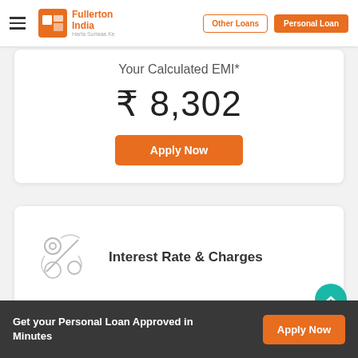[Figure (logo): Fullerton India logo with orange square icon and brand name]
Other Loans
Personal Loan
Your Calculated EMI*
₹ 8,302
Apply Now
Interest Rate & Charges
Get your Personal Loan Approved in Minutes
Apply Now